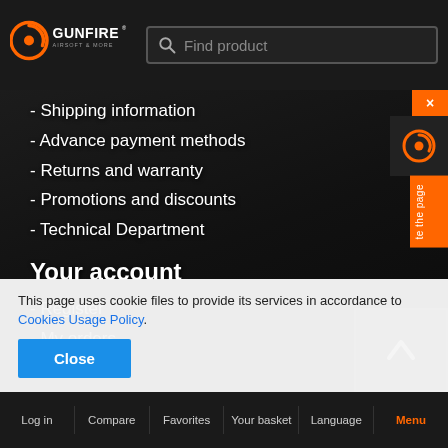[Figure (logo): GUNFIRE Airsoft & More logo with orange circle icon]
- Shipping information
- Advance payment methods
- Returns and warranty
- Promotions and discounts
- Technical Department
Your account
- Register
- My orders
- Favourites
This page uses cookie files to provide its services in accordance to Cookies Usage Policy.
Close
Log in   Compare   Favorites   Your basket   Language   Menu